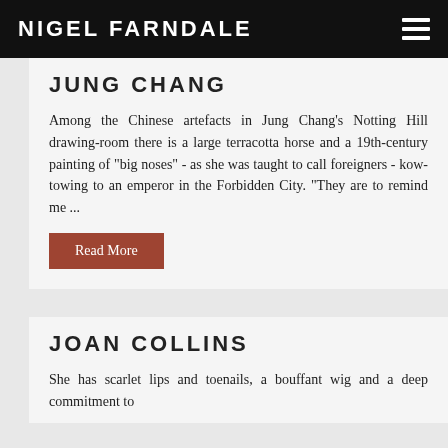NIGEL FARNDALE
JUNG CHANG
Among the Chinese artefacts in Jung Chang's Notting Hill drawing-room there is a large terracotta horse and a 19th-century painting of "big noses" - as she was taught to call foreigners - kow-towing to an emperor in the Forbidden City. "They are to remind me ...
Read More
JOAN COLLINS
She has scarlet lips and toenails, a bouffant wig and a deep commitment to